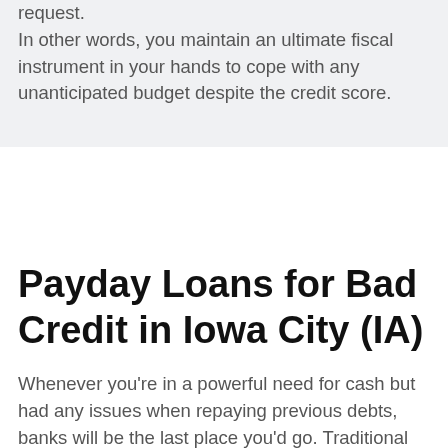request.
In other words, you maintain an ultimate fiscal instrument in your hands to cope with any unanticipated budget despite the credit score.
Payday Loans for Bad Credit in Iowa City (IA)
Whenever you're in a powerful need for cash but had any issues when repaying previous debts, banks will be the last place you'd go. Traditional financial institutions are extremely